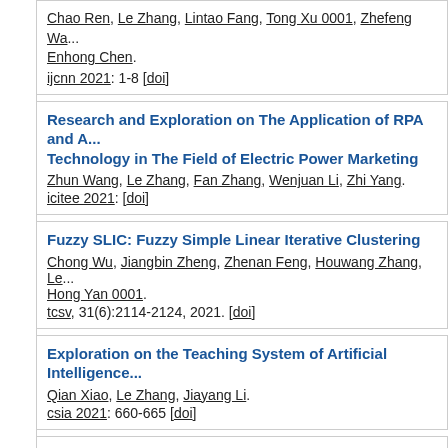Chao Ren, Le Zhang, Lintao Fang, Tong Xu 0001, Zhefeng Wan, Enhong Chen. ijcnn 2021: 1-8 [doi]
Research and Exploration on The Application of RPA and A... Technology in The Field of Electric Power Marketing
Zhun Wang, Le Zhang, Fan Zhang, Wenjuan Li, Zhi Yang.
icitee 2021: [doi]
Fuzzy SLIC: Fuzzy Simple Linear Iterative Clustering
Chong Wu, Jiangbin Zheng, Zhenan Feng, Houwang Zhang, Le..., Hong Yan 0001.
tcsv, 31(6):2114-2124, 2021. [doi]
Exploration on the Teaching System of Artificial Intelligence...
Qian Xiao, Le Zhang, Jiayang Li.
csia 2021: 660-665 [doi]
Bridge health anomaly detection using deep support vector...